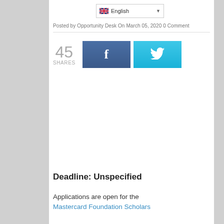English
Posted by Opportunity Desk On March 05, 2020 0 Comment
[Figure (infographic): Social share buttons: 45 SHARES count, Facebook button with 'f' icon, Twitter button with bird icon]
Deadline: Unspecified
Applications are open for the Mastercard Foundation Scholars